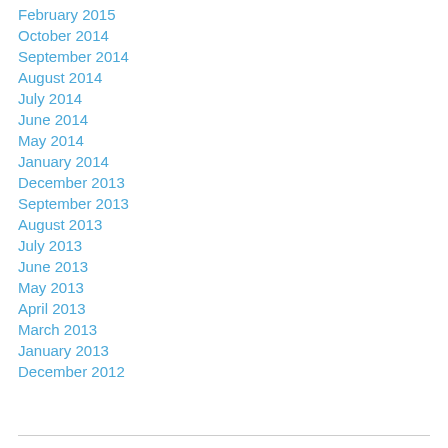February 2015
October 2014
September 2014
August 2014
July 2014
June 2014
May 2014
January 2014
December 2013
September 2013
August 2013
July 2013
June 2013
May 2013
April 2013
March 2013
January 2013
December 2012